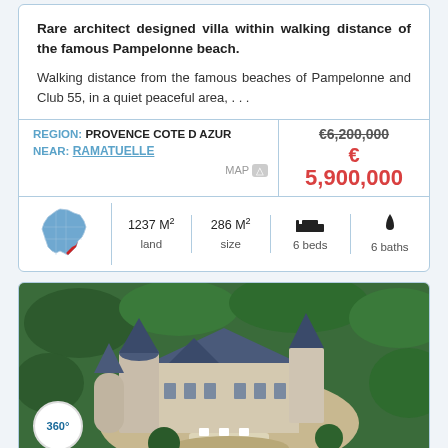Rare architect designed villa within walking distance of the famous Pampelonne beach.
Walking distance from the famous beaches of Pampelonne and Club 55, in a quiet peaceful area, . . .
REGION: PROVENCE COTE D AZUR | NEAR: RAMATUELLE | MAP | €6,200,000 | € 5,900,000
1237 M² land | 286 M² size | 6 beds | 6 baths
[Figure (photo): Aerial view of a French château with blue slate rooftops surrounded by green trees, with outdoor seating area visible]